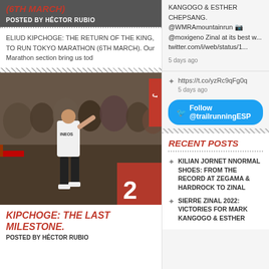(6TH MARCH)
POSTED BY HÉCTOR RUBIO
ELIUD KIPCHOGE: THE RETURN OF THE KING, TO RUN TOKYO MARATHON (6TH MARCH). Our Marathon section bring us tod
[Figure (photo): Runner crossing finish line at a marathon event, crowd in background, red banner visible]
KIPCHOGE: THE LAST MILESTONE.
POSTED BY HÉCTOR RUBIO
KANGOGO & ESTHER CHEPSANG. @WMRAmountainrun 📷 @moxigeno Zinal at its best w... twitter.com/i/web/status/1... 5 days ago
https://t.co/yzRc9qFg0q 5 days ago
Follow @trailrunningESP
RECENT POSTS
KILIAN JORNET NNORMAL SHOES: FROM THE RECORD AT ZEGAMA & HARDROCK TO ZINAL
SIERRE ZINAL 2022: VICTORIES FOR MARK KANGOGO & ESTHER